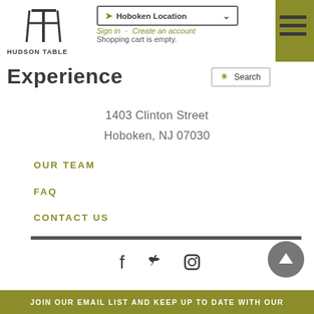[Figure (logo): Hudson Table logo with stylized chair/table icon and text HUDSON TABLE]
Hoboken Location
Sign in · Create an account
Shopping cart is empty.
Experience
Search
1403 Clinton Street
Hoboken, NJ 07030
OUR TEAM
FAQ
CONTACT US
[Figure (illustration): Social media icons: Facebook, Twitter, Instagram]
JOIN OUR EMAIL LIST AND KEEP UP TO DATE WITH OUR